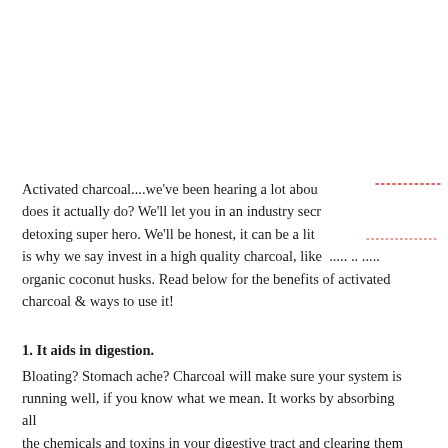Activated charcoal....we've been hearing a lot abou does it actually do? We'll let you in an industry secr detoxing super hero. We'll be honest, it can be a lit is why we say invest in a high quality charcoal, like ..... .. ..... organic coconut husks. Read below for the benefits of activated charcoal & ways to use it!
1. It aids in digestion.
Bloating? Stomach ache? Charcoal will make sure your system is running well, if you know what we mean. It works by absorbing all the chemicals and toxins in your digestive tract and clearing them out.